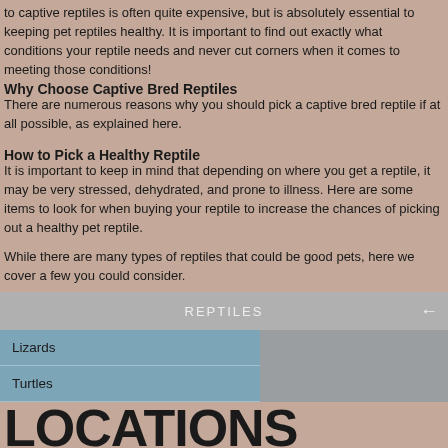to captive reptiles is often quite expensive, but is absolutely essential to keeping pet reptiles healthy. It is important to find out exactly what conditions your reptile needs and never cut corners when it comes to meeting those conditions!
Why Choose Captive Bred Reptiles
There are numerous reasons why you should pick a captive bred reptile if at all possible, as explained here.
How to Pick a Healthy Reptile
It is important to keep in mind that depending on where you get a reptile, it may be very stressed, dehydrated, and prone to illness. Here are some items to look for when buying your reptile to increase the chances of picking out a healthy pet reptile.
While there are many types of reptiles that could be good pets, here we cover a few you could consider.
REPTILES
Lizards
Turtles
LOCATIONS